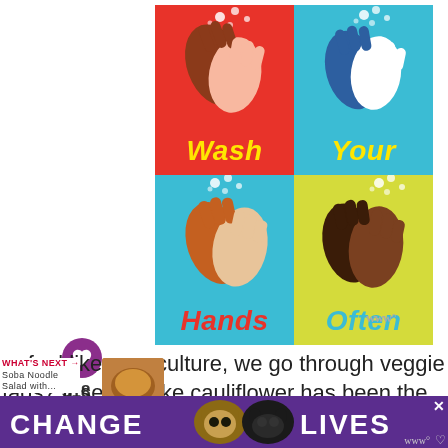[Figure (illustration): Wash Your Hands Often infographic with four quadrants: top-left red background with two hands washing and text 'Wash', top-right blue background with two hands and text 'Your', bottom-left teal background with two hands and text 'Hands', bottom-right yellow-green background with two dark hands and text 'Often'. White dots represent soap/water bubbles. A close/X button is in the top right corner.]
318
er feel like as a culture, we go through veggie fads? It seems like cauliflower has been the biggest deal for quite a while
[Figure (illustration): Bottom banner advertisement with purple background showing two cats and text 'CHANGE LIVES' in white bold letters, with an X close button.]